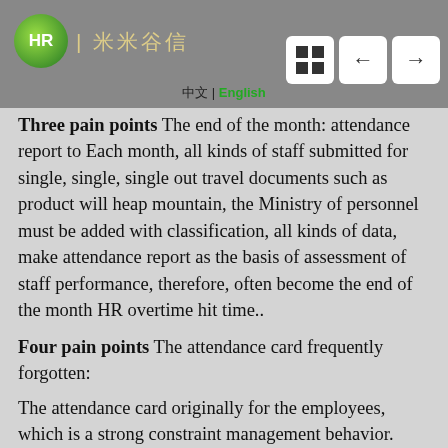HR | 米米谷信 | 中文 | English
Three pain points The end of the month: attendance report to Each month, all kinds of staff submitted for single, single, single out travel documents such as product will heap mountain, the Ministry of personnel must be added with classification, all kinds of data, make attendance report as the basis of assessment of staff performance, therefore, often become the end of the month HR overtime hit time..
Four pain points The attendance card frequently forgotten:
The attendance card originally for the employees, which is a strong constraint management behavior. Most of the time, the staff go in a hurry, or due to long time forget to punch punch line, causing the absence, it is wrong.
These questions for us ah Nokia system is not a problem, it introduces the function and characteristics of our system here:
The function module and the human resource management